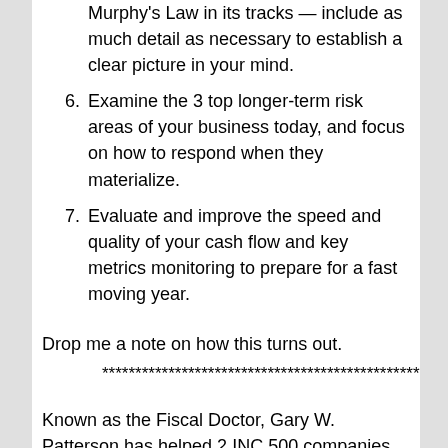Murphy's Law in its tracks — include as much detail as necessary to establish a clear picture in your mind.
6. Examine the 3 top longer-term risk areas of your business today, and focus on how to respond when they materialize.
7. Evaluate and improve the speed and quality of your cash flow and key metrics monitoring to prepare for a fast moving year.
Drop me a note on how this turns out.
***********************************************
Known as the Fiscal Doctor, Gary W. Patterson has helped 2 INC 500 companies and over 200 companies in manufacturing, technology, service, construction and distribution in